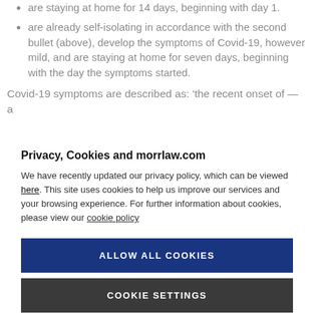are staying at home for 14 days, beginning with day 1.
are already self-isolating in accordance with the second bullet (above), develop the symptoms of Covid-19, however mild, and are staying at home for seven days, beginning with the day the symptoms started.
Covid-19 symptoms are described as: ‘the recent onset of — a
Privacy, Cookies and morrlaw.com
We have recently updated our privacy policy, which can be viewed here. This site uses cookies to help us improve our services and your browsing experience. For further information about cookies, please view our cookie policy
ALLOW ALL COOKIES
COOKIE SETTINGS